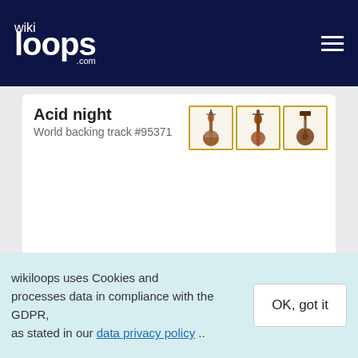wikiloops.com
Acid night
World backing track #95371
...Monsoon Rains...
World backing track #75535
Meter: 4/4
Tempo: 122 BPM
wikiloops uses Cookies and processes data in compliance with the GDPR, as stated in our data privacy policy ..